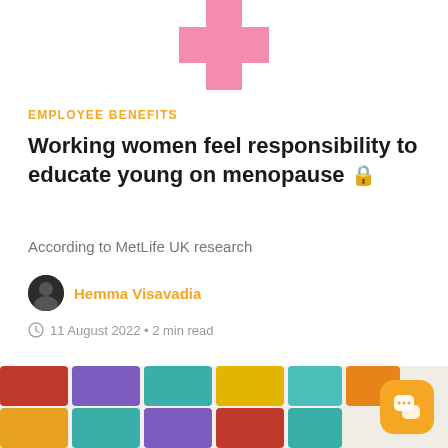[Figure (illustration): Pink cross/plus symbol at the top center of the page]
EMPLOYEE BENEFITS
Working women feel responsibility to educate young on menopause 🔒
According to MetLife UK research
Hemma Visavadia
11 August 2022 • 2 min read
[Figure (illustration): Colorful interlocking jigsaw puzzle pieces in various colors including purple, teal, orange, red, and yellow on a light background]